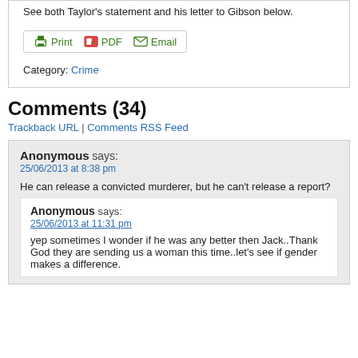See both Taylor's statement and his letter to Gibson below.
[Figure (other): Print/PDF/Email sharing toolbar with icons]
Category: Crime
Comments (34)
Trackback URL | Comments RSS Feed
Anonymous says:
25/06/2013 at 8:38 pm
He can release a convicted murderer, but he can't release a report?
Anonymous says:
25/06/2013 at 11:31 pm
yep sometimes I wonder if he was any better then Jack..Thank God they are sending us a woman this time..let's see if gender makes a difference.